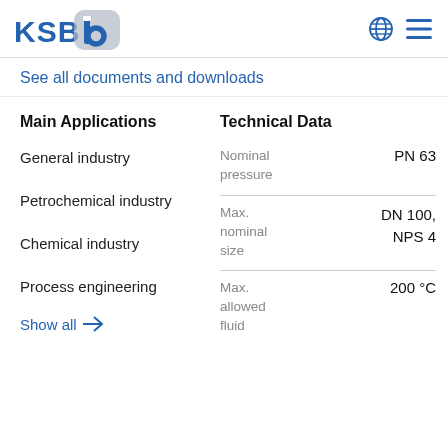KSB logo and navigation icons
See all documents and downloads
Main Applications
General industry
Petrochemical industry
Chemical industry
Process engineering
Show all
Technical Data
| Property | Value |
| --- | --- |
| Nominal pressure | PN 63 |
| Max. nominal size | DN 100, NPS 4 |
| Max. allowed fluid | 200 °C |